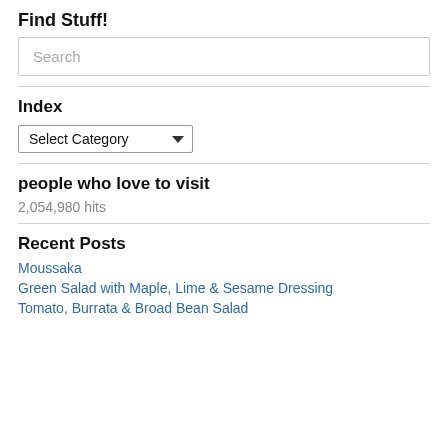Find Stuff!
Search
Index
Select Category
people who love to visit
2,054,980 hits
Recent Posts
Moussaka
Green Salad with Maple, Lime & Sesame Dressing
Tomato, Burrata & Broad Bean Salad